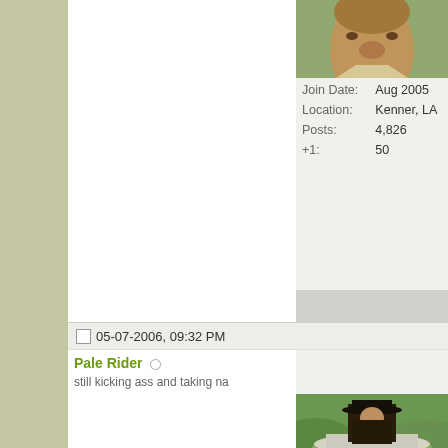[Figure (photo): User avatar photo of person's face, partially visible at top]
Join Date: Aug 2005
Location: Kenner, LA
Posts: 4,826
+1: 50
05-07-2006, 09:32 PM
Pale Rider
still kicking ass and taking na
[Figure (photo): User avatar of Clint Eastwood in Pale Rider, wearing black hat and coat on horseback]
Join Date: Oct 2005
Location: on the move
Posts: 18,768
+1: 192